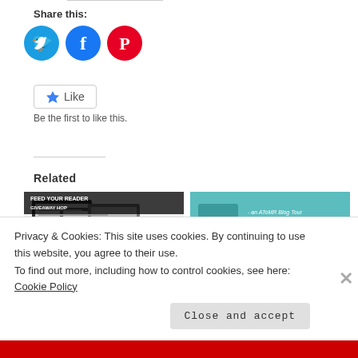Share this:
[Figure (illustration): Three social media icon circles: Twitter (cyan), Facebook (blue), Pinterest (red)]
[Figure (illustration): Like button widget with blue star and 'Like' text, followed by 'Be the first to like this.']
Related
[Figure (illustration): Feed Your Reader Giveaway Hop - August 23rd - 29th promotional image]
[Figure (illustration): Surrender a Possession novel - an AToMR Blog Tour - November 5-10 promotional image]
Privacy & Cookies: This site uses cookies. By continuing to use this website, you agree to their use. To find out more, including how to control cookies, see here: Cookie Policy
Close and accept